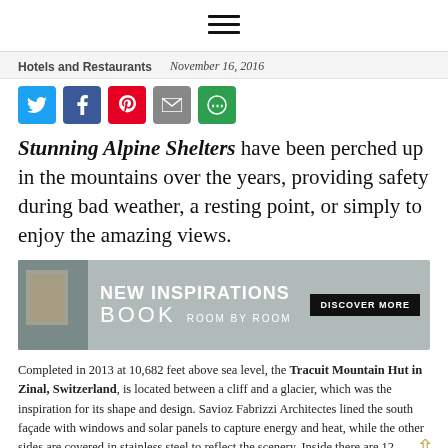≡
Hotels and Restaurants   November 16, 2016
[Figure (infographic): Social sharing buttons: Twitter (blue), Facebook (dark blue), Pinterest (red), Email (grey), More (green)]
Stunning Alpine Shelters have been perched up in the mountains over the years, providing safety during bad weather, a resting point, or simply to enjoy the amazing views.
[Figure (infographic): Advertisement banner: NEW INSPIRATIONS BOOK ROOM BY ROOM with DISCOVER MORE button]
Completed in 2013 at 10,682 feet above sea level, the Tracuit Mountain Hut in Zinal, Switzerland, is located between a cliff and a glacier, which was the inspiration for its shape and design. Savioz Fabrizzi Architectes lined the south façade with windows and solar panels to capture energy and heat, while the other sides are covered in stainless steel to reflect the scenery. Inside there are 12 dormitories for